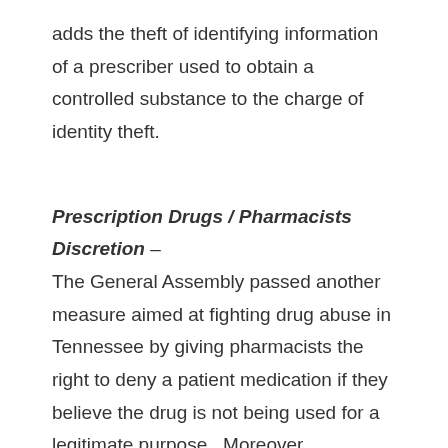adds the theft of identifying information of a prescriber used to obtain a controlled substance to the charge of identity theft.
Prescription Drugs / Pharmacists Discretion –
The General Assembly passed another measure aimed at fighting drug abuse in Tennessee by giving pharmacists the right to deny a patient medication if they believe the drug is not being used for a legitimate purpose.  Moreover, pharmacy owners and / or managers not interfere with a pharmacist's acting on their professional opinion in